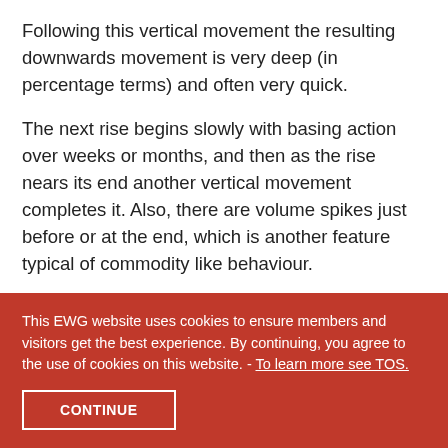Following this vertical movement the resulting downwards movement is very deep (in percentage terms) and often very quick.
The next rise begins slowly with basing action over weeks or months, and then as the rise nears its end another vertical movement completes it. Also, there are volume spikes just before or at the end, which is another feature typical of commodity like behaviour.
This EWG website uses cookies to ensure members and visitors get the best experience. By continuing, you agree to the use of cookies on this website. - To learn more see TOS.